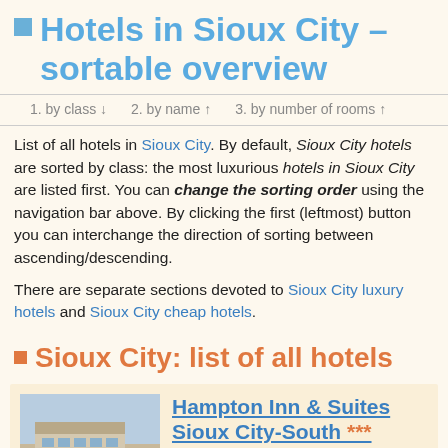Hotels in Sioux City – sortable overview
1. by class ↓   2. by name ↑   3. by number of rooms ↑
List of all hotels in Sioux City. By default, Sioux City hotels are sorted by class: the most luxurious hotels in Sioux City are listed first. You can change the sorting order using the navigation bar above. By clicking the first (leftmost) button you can interchange the direction of sorting between ascending/descending.
There are separate sections devoted to Sioux City luxury hotels and Sioux City cheap hotels.
Sioux City: list of all hotels
Hampton Inn & Suites Sioux City-South *** — This hotel boasts non-smoking rooms and a complimentary breakfast offering bagels and fresh fruit. Located 5 miles from Sioux City